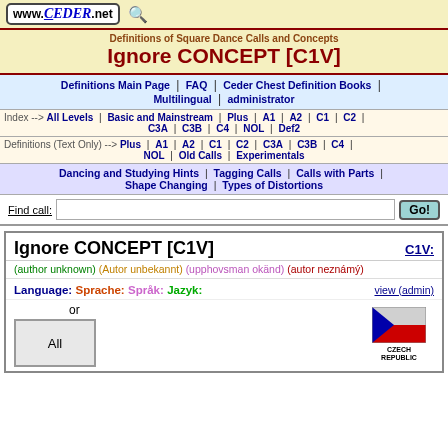www.CEDER.net
Definitions of Square Dance Calls and Concepts
Ignore CONCEPT [C1V]
Definitions Main Page | FAQ | Ceder Chest Definition Books | Multilingual | administrator
Index --> All Levels | Basic and Mainstream | Plus | A1 | A2 | C1 | C2 | C3A | C3B | C4 | NOL | Def2
Definitions (Text Only) --> Plus | A1 | A2 | C1 | C2 | C3A | C3B | C4 | NOL | Old Calls | Experimentals
Dancing and Studying Hints | Tagging Calls | Calls with Parts | Shape Changing | Types of Distortions
Find call:
Ignore CONCEPT [C1V]
C1V:
(author unknown) (Autor unbekannt) (upphovsman okänd) (autor neznámý)
Language: Sprache: Språk: Jazyk:
view (admin)
or
[Figure (illustration): Czech Republic flag icon with text CZECH REPUBLIC below]
All